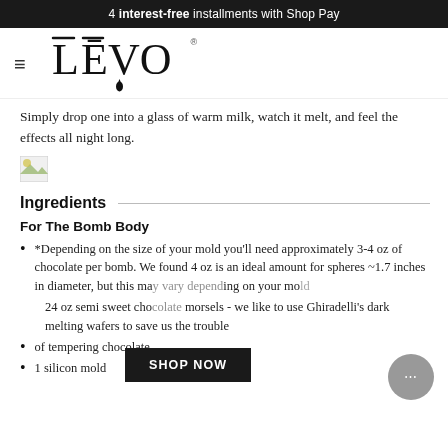4 interest-free installments with Shop Pay
[Figure (logo): LEVO oil infuser logo with hamburger menu icon]
Simply drop one into a glass of warm milk, watch it melt, and feel the effects all night long.
[Figure (photo): Broken/missing image placeholder]
Ingredients
For The Bomb Body
*Depending on the size of your mold you'll need approximately 3-4 oz of chocolate per bomb. We found 4 oz is an ideal amount for spheres ~1.7 inches in diameter, but this may vary depending on your mo…
24 oz semi sweet chocolate morsels - we like to use Ghiradelli's dark melting wafers to save us the trouble of tempering chocolate
1 silicon mold